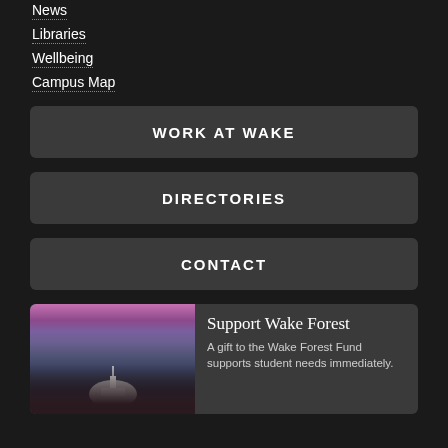News
Libraries
Wellbeing
Campus Map
WORK AT WAKE
DIRECTORIES
CONTACT
Support Wake Forest
A gift to the Wake Forest Fund supports student needs immediately.
[Figure (photo): Aerial/dusk photo of Wake Forest campus with dome building visible against a pink and purple sunset sky with mountains in background]